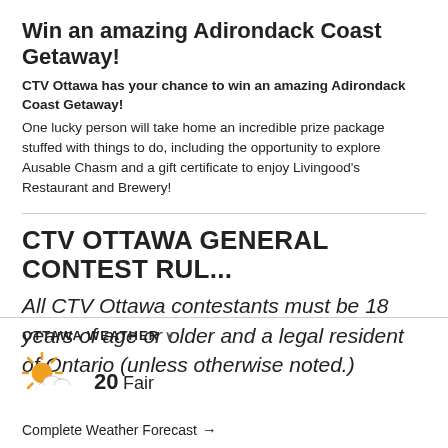Win an amazing Adirondack Coast Getaway!
CTV Ottawa has your chance to win an amazing Adirondack Coast Getaway!
One lucky person will take home an incredible prize package stuffed with things to do, including the opportunity to explore Ausable Chasm and a gift certificate to enjoy Livingood's Restaurant and Brewery!
CTV OTTAWA GENERAL CONTEST RUL...
All CTV Ottawa contestants must be 18 years of age or older and a legal resident of Ontario (unless otherwise noted.)
OTTAWA WEATHER
[Figure (illustration): Partly cloudy weather icon: sun with cloud overlay in orange and white]
20 Fair
Complete Weather Forecast →